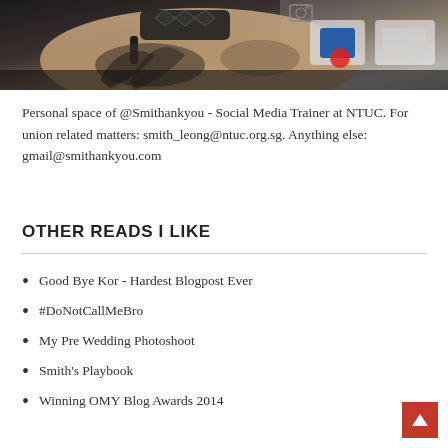[Figure (photo): Photo of a person's tattooed arms crossed, with logos visible in the background]
Personal space of @Smithankyou - Social Media Trainer at NTUC. For union related matters: smith_leong@ntuc.org.sg. Anything else: gmail@smithankyou.com
OTHER READS I LIKE
Good Bye Kor - Hardest Blogpost Ever
#DoNotCallMeBro
My Pre Wedding Photoshoot
Smith's Playbook
Winning OMY Blog Awards 2014